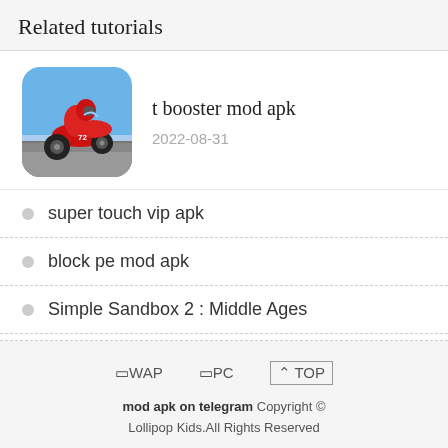Related tutorials
[Figure (photo): Motorcycle racer on a red sport bike leaning into a turn, app icon style with rounded corners]
t booster mod apk
2022-08-31
super touch vip apk
block pe mod apk
Simple Sandbox 2 : Middle Ages
❑WAP  ❑PC  ⌃ TOP
mod apk on telegram Copyright © Lollipop Kids.All Rights Reserved